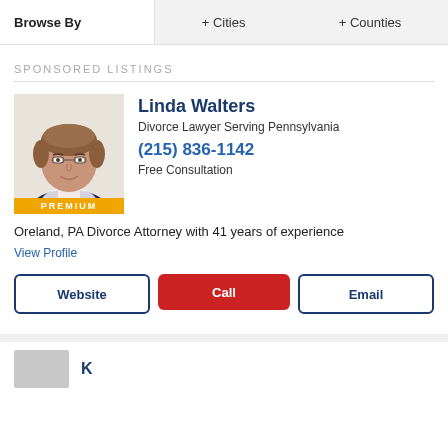Browse By   + Cities   + Counties
SPONSORED LISTINGS
[Figure (photo): Headshot photo of attorney Linda Walters, a woman with short brown hair, smiling, wearing a dark top. A gold PREMIUM badge appears at the bottom of the photo.]
Linda Walters
Divorce Lawyer Serving Pennsylvania
(215) 836-1142
Free Consultation
Oreland, PA Divorce Attorney with 41 years of experience
View Profile
Website   Call   Email